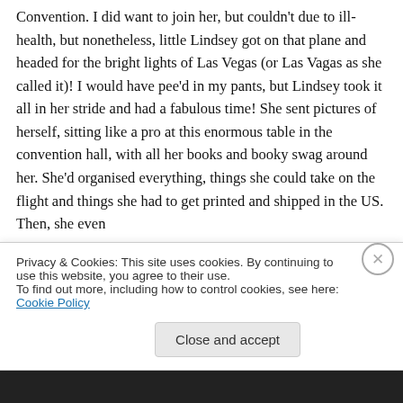Convention. I did want to join her, but couldn't due to ill-health, but nonetheless, little Lindsey got on that plane and headed for the bright lights of Las Vegas (or Las Vagas as she called it)! I would have pee'd in my pants, but Lindsey took it all in her stride and had a fabulous time! She sent pictures of herself, sitting like a pro at this enormous table in the convention hall, with all her books and booky swag around her. She'd organised everything, things she could take on the flight and things she had to get printed and shipped in the US. Then, she even
Privacy & Cookies: This site uses cookies. By continuing to use this website, you agree to their use.
To find out more, including how to control cookies, see here: Cookie Policy
Close and accept